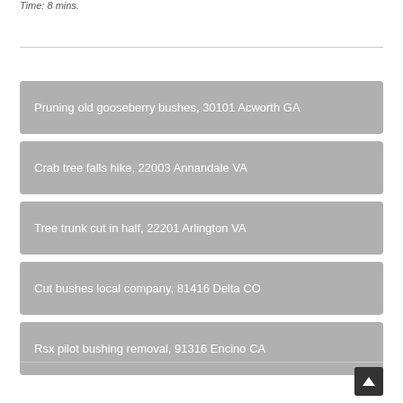Time: 8 mins.
Pruning old gooseberry bushes, 30101 Acworth GA
Crab tree falls hike, 22003 Annandale VA
Tree trunk cut in half, 22201 Arlington VA
Cut bushes local company, 81416 Delta CO
Rsx pilot bushing removal, 91316 Encino CA